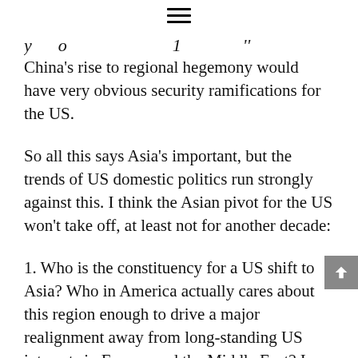≡
y o ... '' (partial cropped text at top)
China's rise to regional hegemony would have very obvious security ramifications for the US.
So all this says Asia's important, but the trends of US domestic politics run strongly against this. I think the Asian pivot for the US won't take off, at least not for another decade:
1. Who is the constituency for a US shift to Asia? Who in America actually cares about this region enough to drive a major realignment away from long-standing US interests in Europe and the Middle East? I guess the business community cares; they pushed PMFN for China 15 years ago, but they're